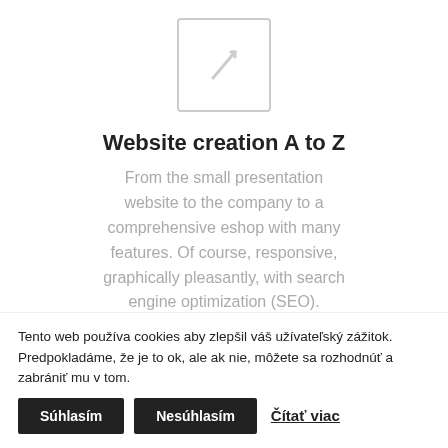[Figure (other): Broken image placeholder icon — a rectangle with rounded corners and a diagonal line/arrow icon inside, rendered in light gray]
Website creation A to Z
From the small presentation website to the company to a comprehensive eshop with many features. Of course, responsive, graphically pleasantly, with search engine optimization (SEO).
Tento web používa cookies aby zlepšil váš užívateľský zážitok. Predpokladáme, že je to ok, ale ak nie, môžete sa rozhodnúť a zabrániť mu v tom.
Súhlasím
Nesúhlasím
Čítať viac